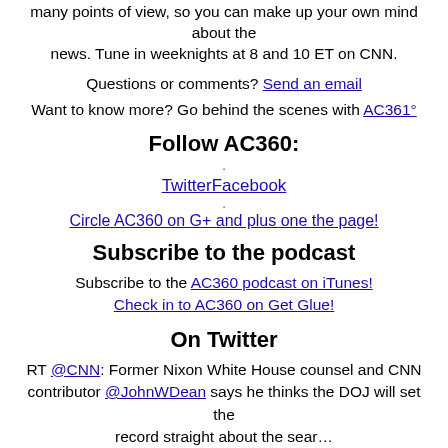many points of view, so you can make up your own mind about the news. Tune in weeknights at 8 and 10 ET on CNN.
Questions or comments? Send an email
Want to know more? Go behind the scenes with AC361°
Follow AC360:
TwitterFacebook
.
Circle AC360 on G+ and plus one the page!
Subscribe to the podcast
Subscribe to the AC360 podcast on iTunes! Check in to AC360 on Get Glue!
On Twitter
RT @CNN: Former Nixon White House counsel and CNN contributor @JohnWDean says he thinks the DOJ will set the record straight about the sear…
[Figure (photo): AC360 avatar/profile image circle photo of a man]